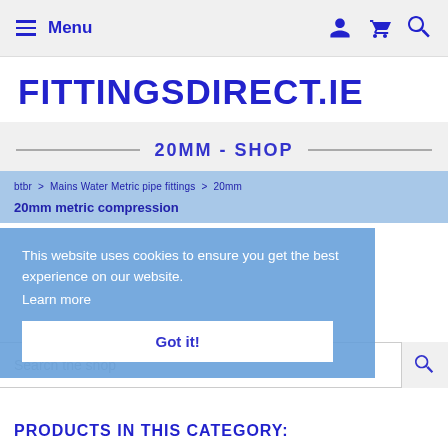Menu | [user icon] [cart icon] [search icon]
FITTINGSDIRECT.IE
20MM - SHOP
btbr > Mains Water Metric pipe fittings > 20mm
20mm metric compression
This website uses cookies to ensure you get the best experience on our website.
Learn more
Got it!
Search the shop
PRODUCTS IN THIS CATEGORY: